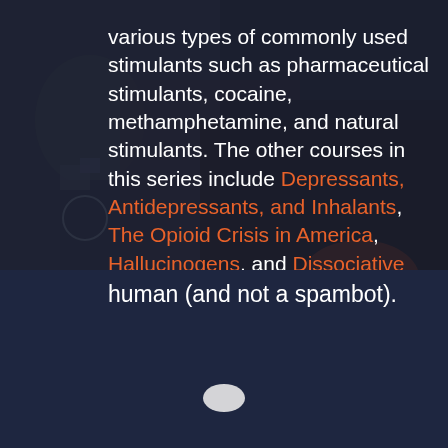various types of commonly used stimulants such as pharmaceutical stimulants, cocaine, methamphetamine, and natural stimulants. The other courses in this series include Depressants, Antidepressants, and Inhalants, The Opioid Crisis in America, Hallucinogens, and Dissociative Anesthetics.
COURSE LENGTH: 1 HOUR
ENROLL NOW
human (and not a spambot).